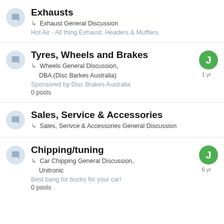Exhausts
↳ Exhaust General Discussion
Hot Air - All thing Exhaust, Headers & Mufflers
Tyres, Wheels and Brakes
↳ Wheels General Discussion, DBA (Disc Barkes Australia)
Sponsored by Disc Brakes Australia
0 posts
J 1 yr
Sales, Service & Accessories
↳ Sales, Serivce & Accessories General Discussion
Chipping/tuning
↳ Car Chipping General Discussion, Unitronic
Best bang for bucks for your car!
0 posts
J 6 yr